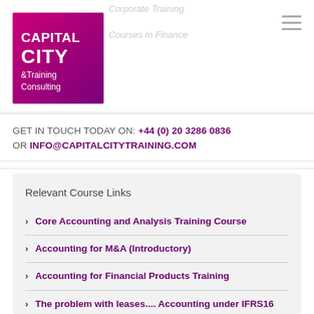[Figure (logo): Capital City Training & Consulting logo — pink/magenta square with white text]
GET IN TOUCH TODAY ON: +44 (0) 20 3286 0836 OR INFO@CAPITALCITYTRAINING.COM
Relevant Course Links
Core Accounting and Analysis Training Course
Accounting for M&A (Introductory)
Accounting for Financial Products Training
The problem with leases.... Accounting under IFRS16